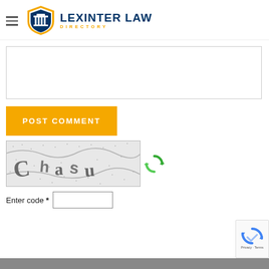[Figure (logo): Lexinter Law Directory logo with shield icon and hamburger menu]
[Figure (other): Empty textarea input box for comment]
[Figure (other): POST COMMENT yellow button]
[Figure (other): CAPTCHA image showing letters 'Chasu' with noise and a green refresh icon]
Enter code *
[Figure (other): reCAPTCHA badge with Privacy and Terms text]